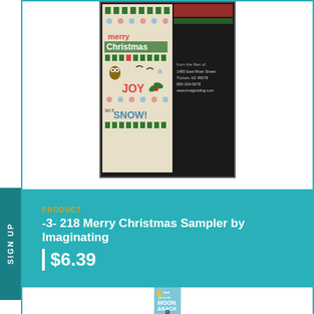[Figure (photo): Cross stitch Merry Christmas Sampler product image with dark background showing address label]
PRODUCT
-3- 218 Merry Christmas Sampler by Imaginating
$6.39
[Figure (photo): Cross stitch 'Love you to the Moon & Back' product image with blue background, moon, stars, and rocket ship]